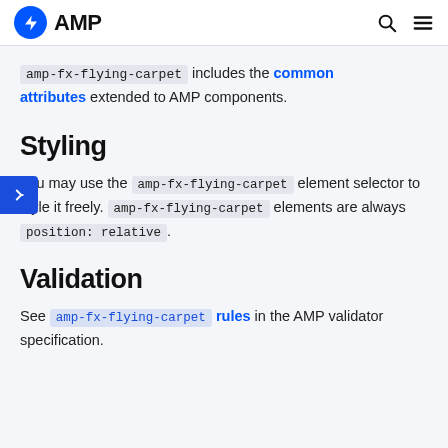AMP
amp-fx-flying-carpet includes the common attributes extended to AMP components.
Styling
You may use the amp-fx-flying-carpet element selector to style it freely. amp-fx-flying-carpet elements are always position: relative.
Validation
See amp-fx-flying-carpet rules in the AMP validator specification.